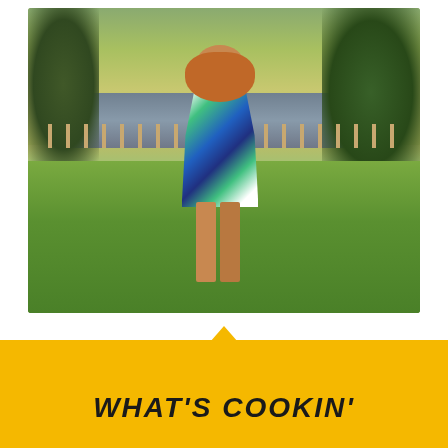[Figure (photo): A young woman with long reddish-brown hair stands on a green lawn wearing a sleeveless blue, green, and white floral/abstract print dress with a belt and beige wedge heels. She poses with one hand on her hip. Behind her is a wooden fence, a pond or small lake reflecting the surroundings, and lush green trees and vegetation. The scene appears to be taken at dusk or evening with warm lighting.]
WHAT'S COOKIN'